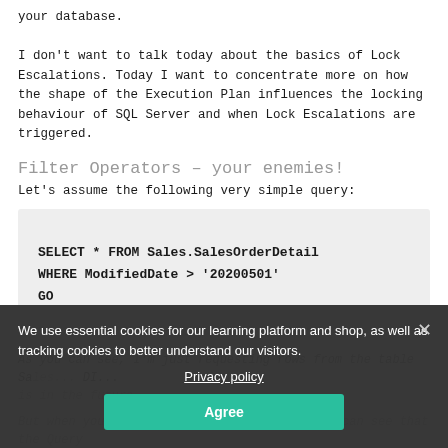your database.
I don't want to talk today about the basics of Lock Escalations. Today I want to concentrate more on how the shape of the Execution Plan influences the locking behaviour of SQL Server and when Lock Escalations are triggered.
Filter Operators – your enemies!
Let's assume the following very simple query:
[Figure (screenshot): Code block with gray background showing SQL query: SELECT * FROM Sales.SalesOrderDetail WHERE ModifiedDate > '20200501' GO]
As you can see, I'm just requesting rows from the table Sales... DI... is in the future.
But when you look at the Execution Plan, you can see that the Query Optimizer has chosen a complete Clustered Index Scan operator follow of
We use essential cookies for our learning platform and shop, as well as tracking cookies to better understand our visitors.
Privacy policy
Agree